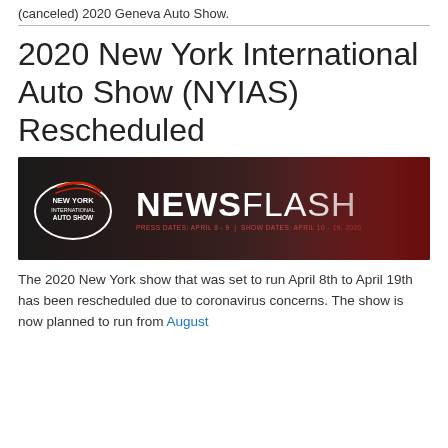(canceled) 2020 Geneva Auto Show.
[Figure (photo): New York International Auto Show NewsFlash banner image with logo on dark background with red car silhouette. Text reads: NEW YORK INTERNATIONAL AUTO SHOW | NEWSFLASH | PRESS DATES: APRIL 8-9 | SHOW DATES: APRIL 10-19, 2020]
2020 New York International Auto Show (NYIAS) Rescheduled
The 2020 New York show that was set to run April 8th to April 19th has been rescheduled due to coronavirus concerns. The show is now planned to run from August